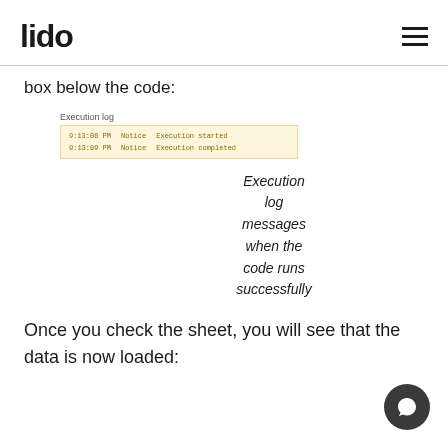lido
box below the code:
[Figure (screenshot): Execution log panel showing two rows: '9:13:08 PM Notice Execution started' and '9:13:09 PM Notice Execution completed' on a light yellow background]
Execution log messages when the code runs successfully
Once you check the sheet, you will see that the data is now loaded: